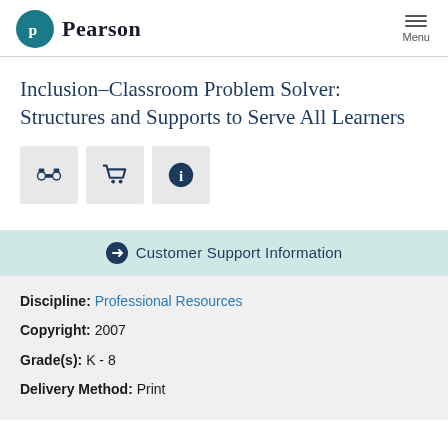Pearson
Inclusion-Classroom Problem Solver: Structures and Supports to Serve All Learners
[Figure (infographic): Three icon buttons: binoculars (search), shopping cart, and info circle]
→ Customer Support Information
Discipline: Professional Resources
Copyright: 2007
Grade(s): K - 8
Delivery Method: Print